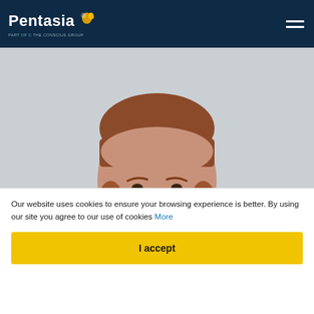Pentasia
[Figure (photo): Professional headshot of a man with a beard wearing a navy blue suit jacket and white shirt, smiling, light gray background]
Our website uses cookies to ensure your browsing experience is better. By using our site you agree to our use of cookies More
I accept